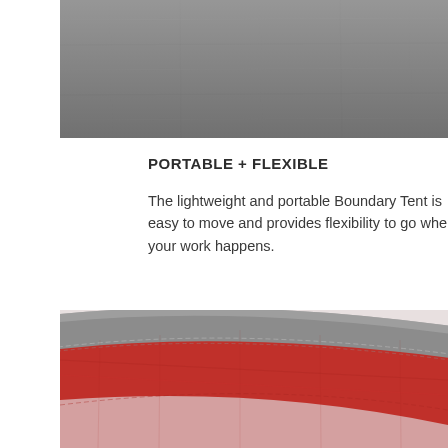[Figure (photo): Close-up photo of gray fabric/textile material with a slightly rough texture, cropped view]
PORTABLE + FLEXIBLE
The lightweight and portable Boundary Tent is easy to move and provides flexibility to go where your work happens.
[Figure (photo): Close-up photo showing the curved edge/seam of a tent with gray binding and red fabric interior, with stitching detail visible]